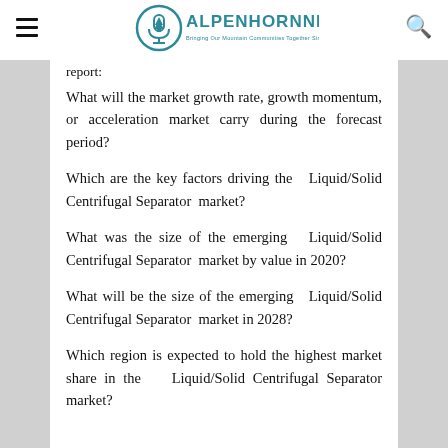ALPENHORNNEWS — Bringing Our Mountain Communities Together Since 1985
report:
What will the market growth rate, growth momentum, or acceleration market carry during the forecast period?
Which are the key factors driving the Liquid/Solid Centrifugal Separator market?
What was the size of the emerging Liquid/Solid Centrifugal Separator market by value in 2020?
What will be the size of the emerging Liquid/Solid Centrifugal Separator market in 2028?
Which region is expected to hold the highest market share in the Liquid/Solid Centrifugal Separator market?